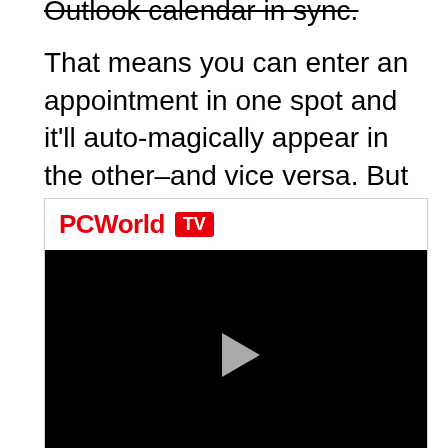Outlook calendar in sync. That means you can enter an appointment in one spot and it'll auto-magically appear in the other–and vice versa. But you also have the option of sticking with a one-way sync, like copying all your Outlook appointments to GCal but not copying GCal appointments to Outlook.
[Figure (screenshot): PCWorld TV video player widget with black video area and play button]